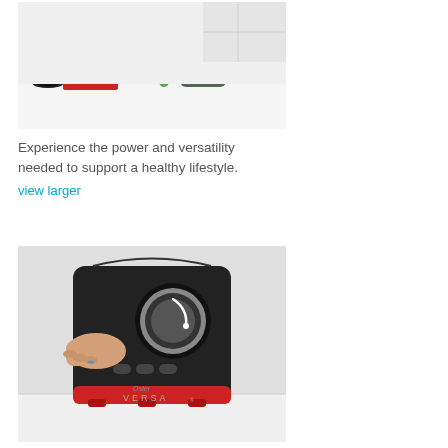[Figure (photo): Woman pouring a green smoothie from an Oster Versa blender into a glass on a white kitchen counter]
Experience the power and versatility needed to support a healthy lifestyle.
view larger
[Figure (photo): Close-up of a hand adjusting the dial on an Oster Versa blender base, showing the brand name and VERSA lettering on the black body with red base]